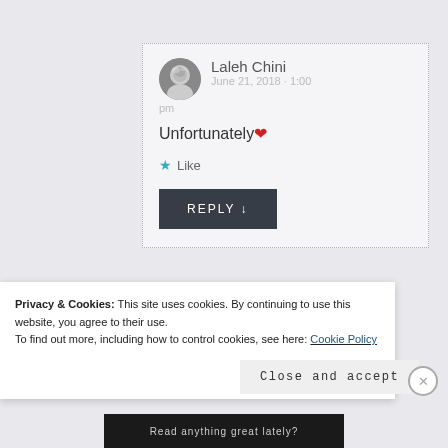[Figure (photo): User avatar photo of Laleh Chini, a woman with short gray hair, black and white photo]
Laleh Chini
June 21, 2018 · 1:00 pm
Unfortunately ❤
★ Like
REPLY ↓
Privacy & Cookies: This site uses cookies. By continuing to use this website, you agree to their use.
To find out more, including how to control cookies, see here: Cookie Policy
Close and accept
Read anything great lately?